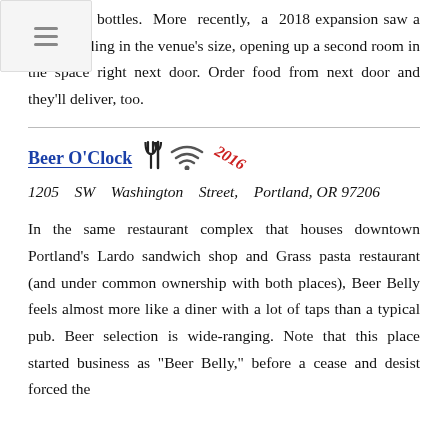[Figure (screenshot): Mobile navigation hamburger menu overlay in top-left corner]
taps and bottles. More recently, a 2018 expansion saw a near-doubling in the venue's size, opening up a second room in the space right next door. Order food from next door and they'll deliver, too.
Beer O'Clock
1205 SW Washington Street, Portland, OR 97206
In the same restaurant complex that houses downtown Portland's Lardo sandwich shop and Grass pasta restaurant (and under common ownership with both places), Beer Belly feels almost more like a diner with a lot of taps than a typical pub. Beer selection is wide-ranging. Note that this place started business as "Beer Belly," before a cease and desist forced the